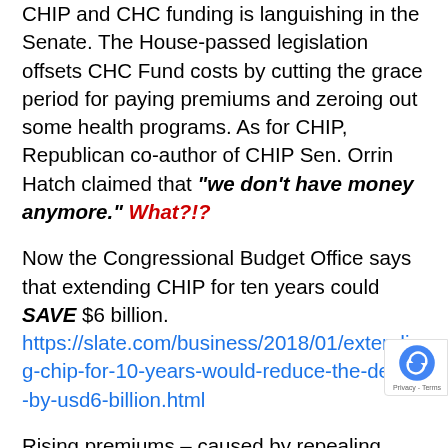CHIP and CHC funding is languishing in the Senate. The House-passed legislation offsets CHC Fund costs by cutting the grace period for paying premiums and zeroing out some health programs. As for CHIP, Republican co-author of CHIP Sen. Orrin Hatch claimed that "we don't have money anymore." What?!?
Now the Congressional Budget Office says that extending CHIP for ten years could SAVE $6 billion. https://slate.com/business/2018/01/extending-chip-for-10-years-would-reduce-the-deficit-by-usd6-billion.html
Rising premiums – caused by repealing ACA's individual mandate — make CHIP cheaper to subsidize than private plans. These savings